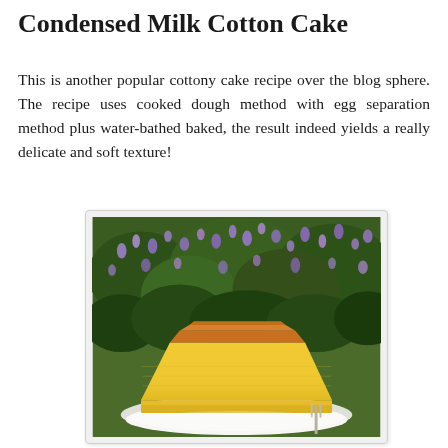Condensed Milk Cotton Cake
This is another popular cottony cake recipe over the blog sphere. The recipe uses cooked dough method with egg separation method plus water-bathed baked, the result indeed yields a really delicate and soft texture!
[Figure (photo): A triangular slice of yellow cotton/sponge cake with a golden-brown top crust, sitting on a white plate with a fork, set against a background of purple flowers and green foliage.]